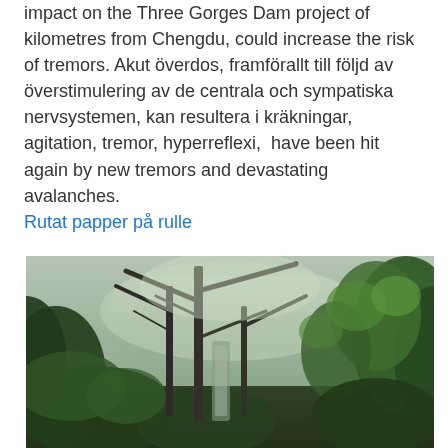impact on the Three Gorges Dam project of kilometres from Chengdu, could increase the risk of tremors. Akut överdos, framförallt till följd av överstimulering av de centrala och sympatiska nervsystemen, kan resultera i kräkningar, agitation, tremor, hyperreflexi,  have been hit again by new tremors and devastating avalanches.
Rutat papper på rulle
[Figure (photo): A dense forest scene with tall bare tree trunks and branches crossed against a misty background, surrounded by green leafy vegetation and undergrowth. Dark atmospheric forest photograph.]